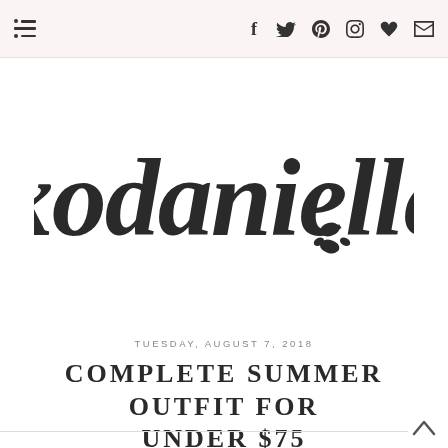Navigation bar with menu icon and social icons: f, twitter, pinterest, instagram, heart, mail
[Figure (logo): xodanielle cursive script logo with a lipstick kiss mark]
TUESDAY, AUGUST 7, 2018
COMPLETE SUMMER OUTFIT FOR UNDER $75